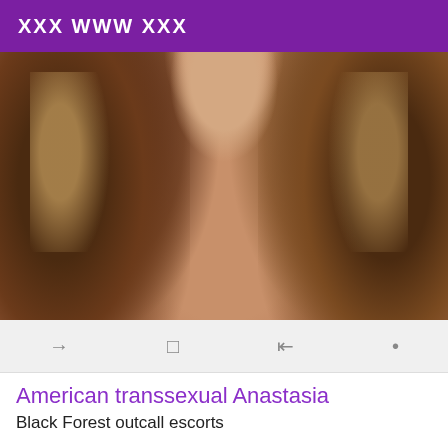XXX WWW XXX
[Figure (photo): Close-up photo of a person with long brunette hair with highlights, showing neck and upper chest area]
American transsexual Anastasia
Black Forest outcall escorts